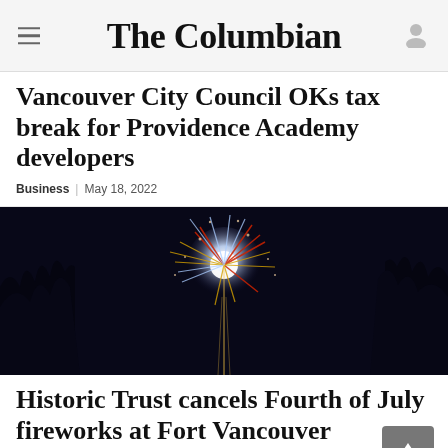The Columbian
Vancouver City Council OKs tax break for Providence Academy developers
Business | May 18, 2022
[Figure (photo): Fireworks exploding in a night sky with colorful bursts of red, white, and blue against dark trees in the background]
Historic Trust cancels Fourth of July fireworks at Fort Vancouver
Clark County Life | May 10, 2022